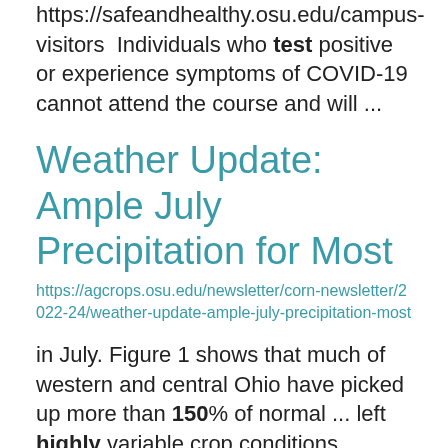https://safeandhealthy.osu.edu/campus-visitors  Individuals who test positive or experience symptoms of COVID-19 cannot attend the course and will ...
Weather Update: Ample July Precipitation for Most
https://agcrops.osu.edu/newsletter/corn-newsletter/2022-24/weather-update-ample-july-precipitation-most
in July. Figure 1 shows that much of western and central Ohio have picked up more than 150% of normal ... left highly variable crop conditions, though much of the stress from dry weather in June has been ... rainfree. Temperatures will be kept